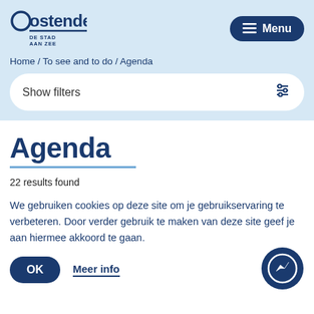[Figure (logo): Oostende city logo with circle O and text DE STAD AAN ZEE]
Menu button (hamburger icon)
Home / To see and to do / Agenda
Show filters
Agenda
22 results found
We gebruiken cookies op deze site om je gebruikservaring te verbeteren. Door verder gebruik te maken van deze site geef je aan hiermee akkoord te gaan.
OK
Meer info
[Figure (logo): Facebook Messenger chat button icon]